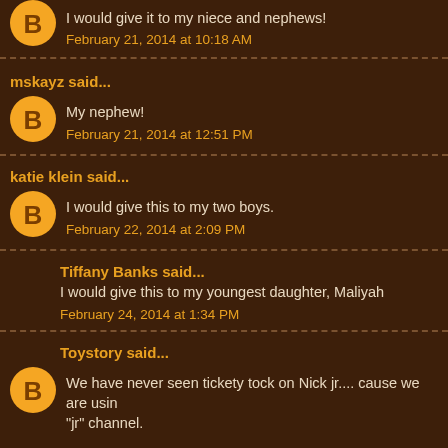I would give it to my niece and nephews!
February 21, 2014 at 10:18 AM
mskayz said...
My nephew!
February 21, 2014 at 12:51 PM
katie klein said...
I would give this to my two boys.
February 22, 2014 at 2:09 PM
Tiffany Banks said...
I would give this to my youngest daughter, Maliyah
February 24, 2014 at 1:34 PM
Toystory said...
We have never seen tickety tock on Nick jr.... cause we are usin "jr" channel.